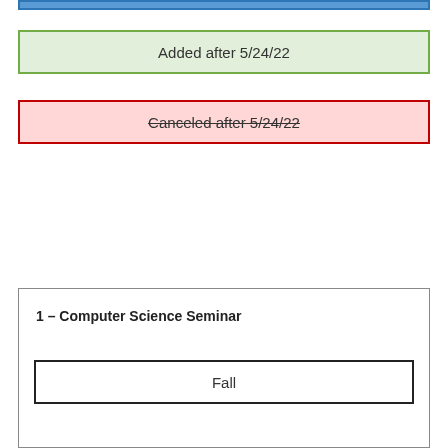[Figure (infographic): Blue bar at top of page indicating a header region]
Added after 5/24/22
Canceled after 5/24/22
1 – Computer Science Seminar
Fall